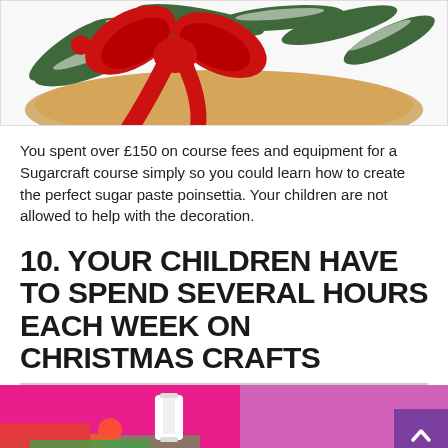[Figure (photo): Christmas wreath decoration with red bow, pine branches, and red baubles on a wooden plate/board, partially cropped at top.]
You spent over £150 on course fees and equipment for a Sugarcraft course simply so you could learn how to create the perfect sugar paste poinsettia. Your children are not allowed to help with the decoration.
10. YOUR CHILDREN HAVE TO SPEND SEVERAL HOURS EACH WEEK ON CHRISTMAS CRAFTS
[Figure (photo): Colorful craft supplies on a bright pink and purple background — sewing thread spool, scissors, and Christmas craft items, partially cropped at bottom.]